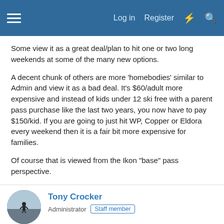Log in  Register
Some view it as a great deal/plan to hit one or two long weekends at some of the many new options.

A decent chunk of others are more 'homebodies' similar to Admin and view it as a bad deal. It's $60/adult more expensive and instead of kids under 12 ski free with a parent pass purchase like the last two years, you now have to pay $150/kid. If you are going to just hit WP, Copper or Eldora every weekend then it is a fair bit more expensive for families.

Of course that is viewed from the Ikon "base" pass perspective.
Tony Crocker
Administrator  Staff member
Feb 24, 2018  #12
Sbooker":38exnr6k said: